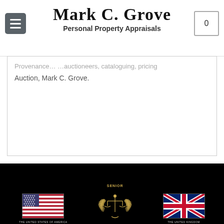Mark C. Grove Personal Property Appraisals
Provenance… Auction, Mark C. Grove.
[Figure (infographic): Black footer bar with US flag on left labeled 'The United States of America', center Senior Independent Appraiser badge/seal in gold, and UK flag on right labeled 'The United Kingdom']
(540) 435-7357 © 2022 Mark C. Grove . All Rights Reserved.